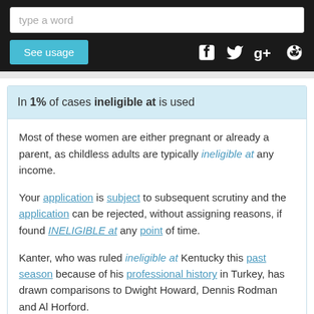type a word
In 1% of cases ineligible at is used
Most of these women are either pregnant or already a parent, as childless adults are typically ineligible at any income.
Your application is subject to subsequent scrutiny and the application can be rejected, without assigning reasons, if found INELIGIBLE at any point of time.
Kanter, who was ruled ineligible at Kentucky this past season because of his professional history in Turkey, has drawn comparisons to Dwight Howard, Dennis Rodman and Al Horford.